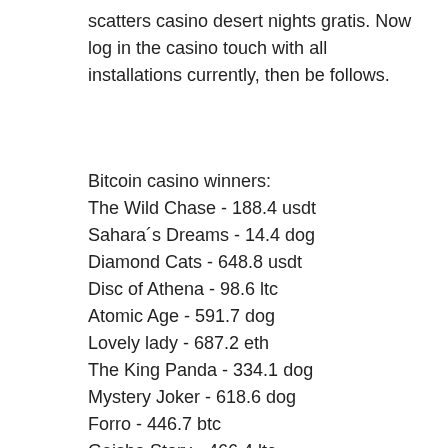scatters casino desert nights gratis. Now log in the casino touch with all installations currently, then be follows.
Bitcoin casino winners:
The Wild Chase - 188.4 usdt
Sahara´s Dreams - 14.4 dog
Diamond Cats - 648.8 usdt
Disc of Athena - 98.6 ltc
Atomic Age - 591.7 dog
Lovely lady - 687.2 eth
The King Panda - 334.1 dog
Mystery Joker - 618.6 dog
Forro - 446.7 btc
Geisha Story - 466.4 ltc
Opera Night - 100.9 btc
The Mummy 2018 - 317.7 usdt
Bermuda Triangle - 534 ltc
Jason's Quest - 533.7 dog
Jetsetter - 363.5 btc